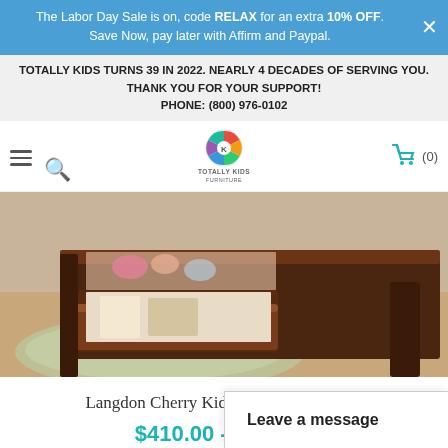The Labor Day Sale is on, code RELAX for an extra 10% OFF. Save Now, pay later with Affirm and Paypal.
TOTALLY KIDS TURNS 39 IN 2022. NEARLY 4 DECADES OF SERVING YOU. THANK YOU FOR YOUR SUPPORT! PHONE: (800) 976-0102
[Figure (logo): Totally Kids Furniture logo with colorful circular icon and brand name text]
[Figure (photo): Photo showing underbed storage drawer of a dark cherry wood kids bed, pulled open with items inside, on a light wood floor with a green patterned rug]
Langdon Cherry Kids Beds with Storage
$410.00 - $450.00
Leave a message